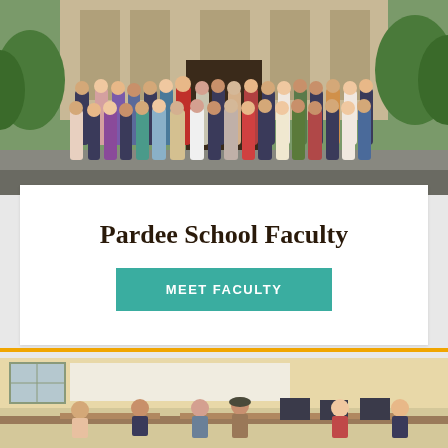[Figure (photo): Large group photo of Pardee School faculty standing outdoors in front of a building entrance]
Pardee School Faculty
MEET FACULTY
[Figure (photo): Classroom scene with students sitting at tables working, instructor visible, indoor academic setting]